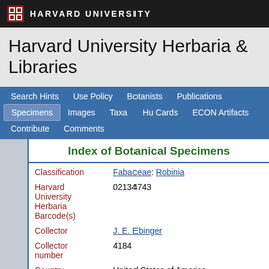HARVARD UNIVERSITY
Harvard University Herbaria & Libraries
Search Hints | Use Policy | Botanists | Publications | Specimens | Images | Taxa | Hu Cards | ECON Artifacts | Contribute | Comments
Index of Botanical Specimens
| Field | Value |
| --- | --- |
| Classification | Fabaceae: Robinia |
| Harvard University Herbaria Barcode(s) | 02134743 |
| Collector | J. E. Ebinger |
| Collector number | 4184 |
| Country | United States of America |
| State | North Carolina |